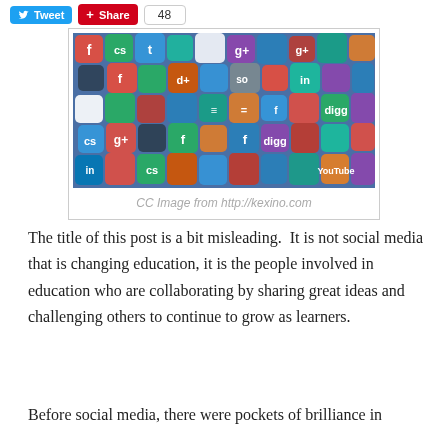[Figure (screenshot): Social media app icons piled together — colorful rounded square icons including Facebook, Twitter, Google+, Digg, LinkedIn, Flickr, and many others]
CC Image from http://kexino.com
The title of this post is a bit misleading.  It is not social media that is changing education, it is the people involved in education who are collaborating by sharing great ideas and challenging others to continue to grow as learners.
Before social media, there were pockets of brilliance in